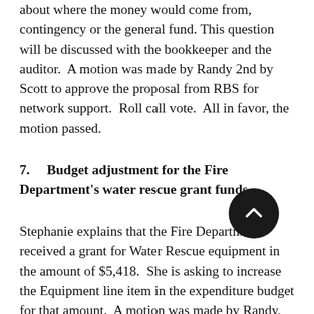about where the money would come from, contingency or the general fund. This question will be discussed with the bookkeeper and the auditor.  A motion was made by Randy 2nd by Scott to approve the proposal from RBS for network support.  Roll call vote.  All in favor, the motion passed.
7.   Budget adjustment for the Fire Department's water rescue grant funds.
Stephanie explains that the Fire Department received a grant for Water Rescue equipment in the amount of $5,418.  She is asking to increase the Equipment line item in the expenditure budget for that amount.  A motion was made by Randy, 2nd by Scott to increase the Fire General Fund account